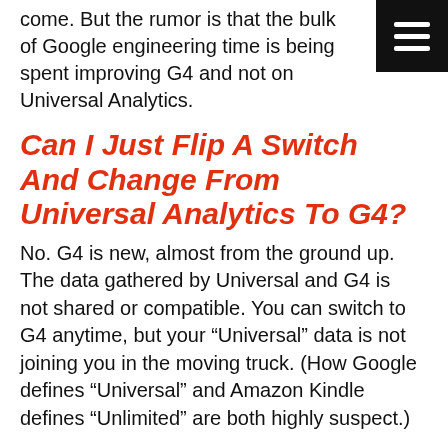come. But the rumor is that the bulk of Google engineering time is being spent improving G4 and not on Universal Analytics.
Can I Just Flip A Switch And Change From Universal Analytics To G4?
No. G4 is new, almost from the ground up. The data gathered by Universal and G4 is not shared or compatible. You can switch to G4 anytime, but your “Universal” data is not joining you in the moving truck. (How Google defines “Universal” and Amazon Kindle defines “Unlimited” are both highly suspect.)
I Have A New Website. What Should I Do?
You can set up both a Google Analytics 4 property and a Universal Analytics property at the same